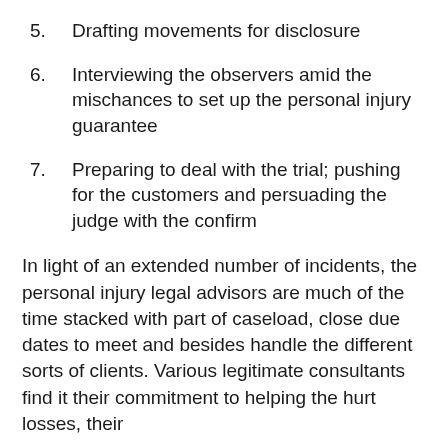5. Drafting movements for disclosure
6. Interviewing the observers amid the mischances to set up the personal injury guarantee
7. Preparing to deal with the trial; pushing for the customers and persuading the judge with the confirm
In light of an extended number of incidents, the personal injury legal advisors are much of the time stacked with part of caseload, close due dates to meet and besides handle the different sorts of clients. Various legitimate consultants find it their commitment to helping the hurt losses, their